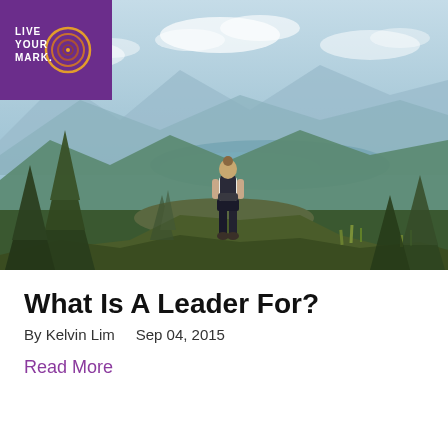[Figure (photo): A person with a backpack standing on a mountain summit overlooking a vast valley and mountain landscape with pine trees, photographed from behind. A purple logo box for 'Live Your Mark.' appears in the top-left corner of the image.]
What Is A Leader For?
By Kelvin Lim    Sep 04, 2015
Read More